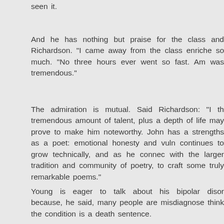seen it.
And he has nothing but praise for the class and Richardson. "I came away from the class enriched so much. "No three hours ever went so fast. Am was tremendous."
The admiration is mutual. Said Richardson: "I th tremendous amount of talent, plus a depth of life may prove to make him noteworthy. John has a strengths as a poet: emotional honesty and vuln continues to grow technically, and as he connec with the larger tradition and community of poetry, to craft some truly remarkable poems."
Young is eager to talk about his bipolar disor because, he said, many people are misdiagnose think the condition is a death sentence.